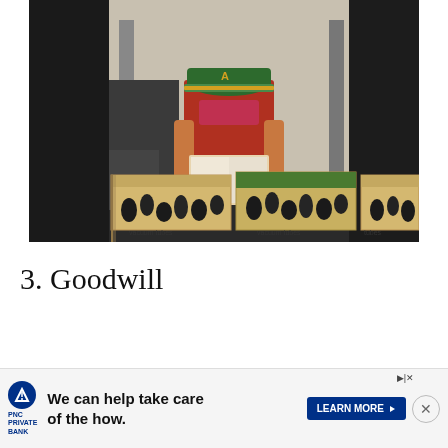[Figure (photo): A person wearing a red t-shirt and green Oakland Athletics baseball cap stands behind three cardboard boxes filled with vacuum tubes at what appears to be a flea market or electronics sale. The boxes are labeled 'vacuum tubes', 'vacuum tubes', and 'tubes'. The person is reading or looking at a magazine/book. The background shows a cluttered shop environment.]
3. Goodwill
We can help take care of the how.